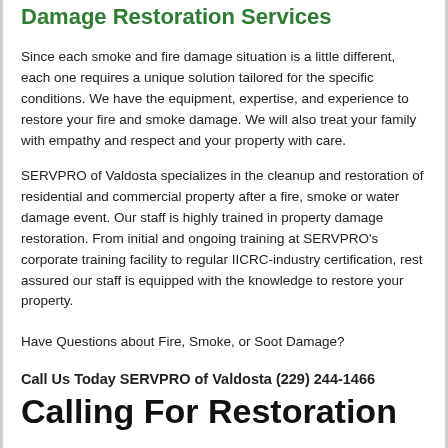Damage Restoration Services
Since each smoke and fire damage situation is a little different, each one requires a unique solution tailored for the specific conditions. We have the equipment, expertise, and experience to restore your fire and smoke damage. We will also treat your family with empathy and respect and your property with care.
SERVPRO of Valdosta specializes in the cleanup and restoration of residential and commercial property after a fire, smoke or water damage event. Our staff is highly trained in property damage restoration. From initial and ongoing training at SERVPRO's corporate training facility to regular IICRC-industry certification, rest assured our staff is equipped with the knowledge to restore your property.
Have Questions about Fire, Smoke, or Soot Damage?
Call Us Today SERVPRO of Valdosta (229) 244-1466
Calling For Restoration